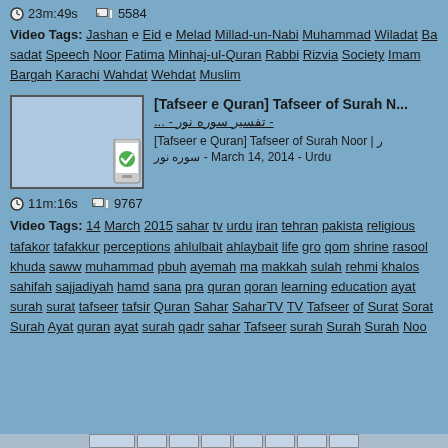23m:49s   5584
Video Tags: Jashan e Eid e Melad Millad-un-Nabi Muhammad Wiladat Ba sadat Speech Noor Fatima Minhaj-ul-Quran Rabbi Rizvia Society Imam Bargah Karachi Wahdat Wehdat Muslim
[Figure (screenshot): Video thumbnail placeholder with a phone/checkmark icon]
[Tafseer e Quran] Tafseer of Surah N... - تفسیر سوره نور -...
[Tafseer e Quran] Tafseer of Surah Noor | ر سوره نور - March 14, 2014 - Urdu
11m:16s   9767
Video Tags: 14 March 2015 sahar tv urdu iran tehran pakistan religious tafakor tafakkur perceptions ahlulbait ahlaybait life gro qom shrine rasool khuda saww muhammad pbuh ayemah ma makkah sulah rehmi khalos sahifah sajjadiyah hamd sana pra quran qoran learning education ayat surah surat tafseer tafsir Quran Sahar SaharTV TV Tafseer of Surat Sorat Surah Ayat quran ayat surah qadr sahar Tafseer surah Surah Surah Noo